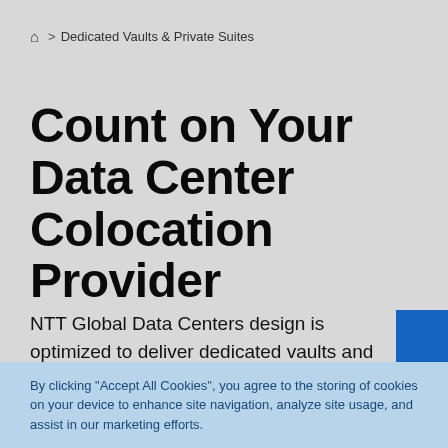🏠 > Dedicated Vaults & Private Suites
Count on Your Data Center Colocation Provider
NTT Global Data Centers design is optimized to deliver dedicated vaults and private suites for
By clicking "Accept All Cookies", you agree to the storing of cookies on your device to enhance site navigation, analyze site usage, and assist in our marketing efforts.